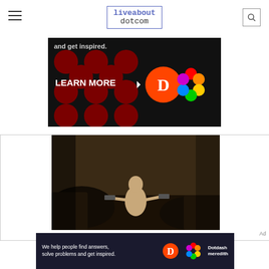liveabout dotcom
[Figure (photo): Advertisement banner with black background, red polka dots, 'LEARN MORE' text, a D logo circle and a colorful flower/knot logo. Text at top partially visible: 'and get inspired.']
[Figure (screenshot): Video game screenshot showing a character in a dark room aiming a gun, appears to be Resident Evil style game with dark moody lighting]
[Figure (photo): Dotdash Meredith advertisement: 'We help people find answers, solve problems and get inspired.' with D logo and colorful knot logo and Dotdash Meredith text]